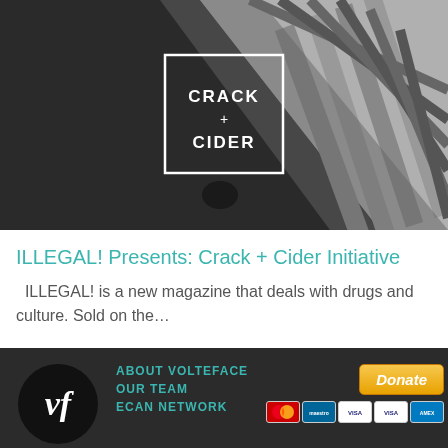[Figure (photo): Black and white overhead photo of stairs/pavement corner with shadow. White square logo overlay reading 'CRACK + CIDER' in center.]
ILLEGAL! Presents: Crack + Cider Initiative
ILLEGAL! is a new magazine that deals with drugs and culture. Sold on the...
[Figure (logo): Volteface logo - white 'vf' italic letters on dark circle background]
ABOUT VOLTEFACE
OUR TEAM
ECAN NETWORK
[Figure (other): PayPal Donate button and credit card icons (Mastercard, Maestro, VISA, VISA, American Express)]